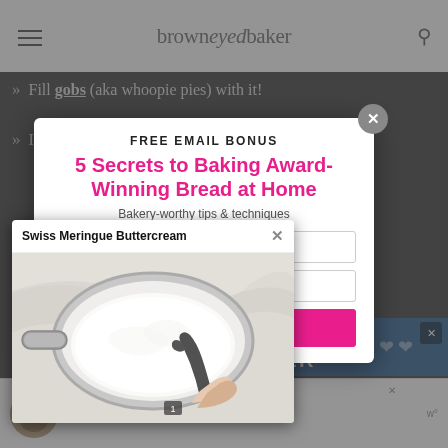browneyed baker
Fill gobs (aka whoopie pies) with it!
If [partially visible] ...his a...
[Figure (screenshot): Email signup modal popup: FREE EMAIL BONUS header, '5 Secrets to Baking Award-Winning Bread at Home', Bakery-worthy tips & techniques subtext, two input fields, pink SEND THIS button, close X button]
[Figure (screenshot): Video popup titled 'Swiss Meringue Buttercream' showing a bowl with white cream being stirred, with close X button]
[Figure (screenshot): Bottom ad banner: PAWFECT MATCH advertisement with dog image]
[Figure (screenshot): Friends Forever teal/blue banner overlay]